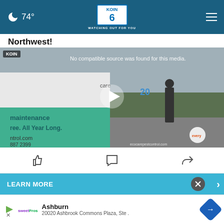74° | KOIN 6 WATCHING OUT FOR YOU
Northwest!
[Figure (screenshot): Video player showing a pest control van and worker outdoors. Overlay text reads 'No compatible source was found for this media.' A play button is visible in the center. KOIN badge in top left. ecocarepestcontrol.com watermark in bottom right.]
[Figure (infographic): Social action icons: thumbs up (like), speech bubble (comment), share arrow]
LEARN MORE
Ashburn
20020 Ashbrook Commons Plaza, Ste .